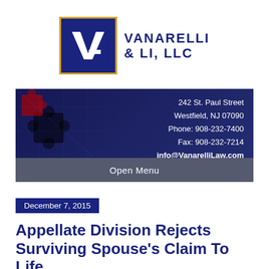[Figure (logo): Vanarelli & Li, LLC law firm logo with dark blue square containing stylized VL monogram, bordered in gold, with firm name in dark blue uppercase text to the right]
[Figure (infographic): Law firm header banner with dark blue/purple background, puzzle piece imagery on the left, contact information on the right (242 St. Paul Street, Westfield, NJ 07090, Phone: 908-232-7400, Fax: 908-232-7214, info@VanarelliLaw.com), and a gray Open Menu bar at the bottom]
December 7, 2015
Appellate Division Rejects Surviving Spouse's Claim To Life